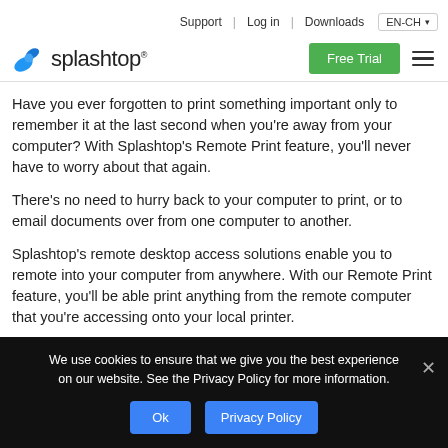Support | Log in | Downloads EN-CH
[Figure (logo): Splashtop logo with blue splash icon and wordmark]
Have you ever forgotten to print something important only to remember it at the last second when you’re away from your computer? With Splashtop’s Remote Print feature, you’ll never have to worry about that again.
There’s no need to hurry back to your computer to print, or to email documents over from one computer to another.
Splashtop’s remote desktop access solutions enable you to remote into your computer from anywhere. With our Remote Print feature, you’ll be able print anything from the remote computer that you’re accessing onto your local printer.
Which Splashtop Solutions Includ...
We use cookies to ensure that we give you the best experience on our website. See the Privacy Policy for more information.